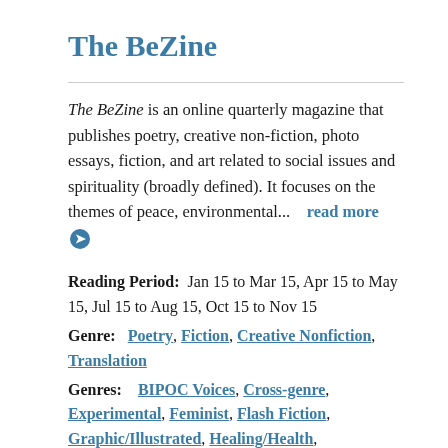The BeZine
The BeZine is an online quarterly magazine that publishes poetry, creative non-fiction, photo essays, fiction, and art related to social issues and spirituality (broadly defined). It focuses on the themes of peace, environmental...   read more →
Reading Period:  Jan 15 to Mar 15, Apr 15 to May 15, Jul 15 to Aug 15, Oct 15 to Nov 15
Genre:  Poetry, Fiction, Creative Nonfiction, Translation
Genres:  BIPOC Voices, Cross-genre, Experimental, Feminist, Flash Fiction, Graphic/Illustrated, Healing/Health, Journalism/Investigative Reporting, Nature/Environmental, Political,